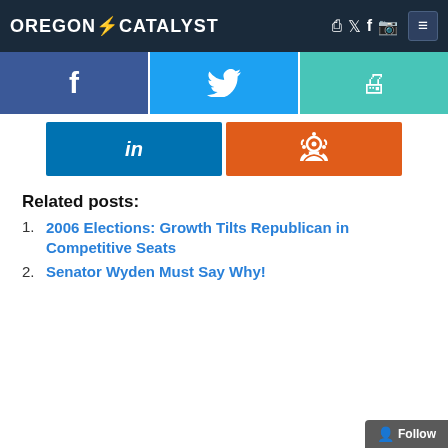OREGON⚡CATALYST
[Figure (screenshot): Social share buttons row 1: Facebook (blue), Twitter (light blue), Print (teal)]
[Figure (screenshot): Social share buttons row 2: LinkedIn (dark blue), Reddit (orange)]
Related posts:
2006 Elections: Growth Tilts Republican in Competitive Seats
Senator Wyden Must Say Why!